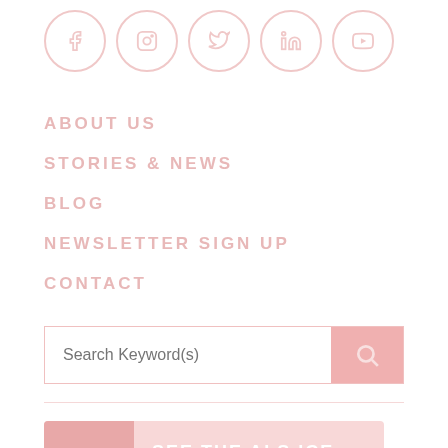[Figure (other): Social media icon buttons in a row: Facebook, Instagram, Twitter, LinkedIn, YouTube — all circular outlines in light pink/rose color]
ABOUT US
STORIES & NEWS
BLOG
NEWSLETTER SIGN UP
CONTACT
[Figure (other): Search bar with placeholder text 'Search Keyword(s)' and a pink search button with magnifying glass icon]
[Figure (other): Card thumbnail with text 'SEE THE ALS ICE BUCKET CHALLENGE PROGRESS!' on a pink background with a video play icon]
SEE THE ALS ICE BUCKET CHALLENGE PROGRESS!